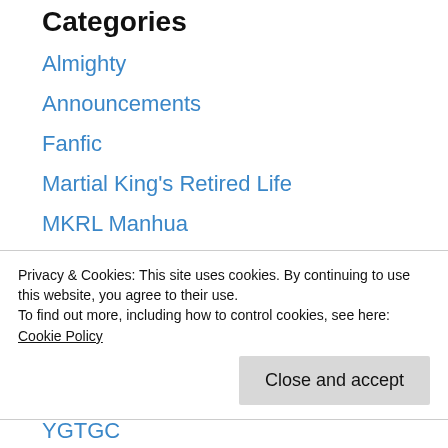Categories
Almighty
Announcements
Fanfic
Martial King's Retired Life
MKRL Manhua
Mom-con
MYSD
News
Privacy & Cookies: This site uses cookies. By continuing to use this website, you agree to their use.
To find out more, including how to control cookies, see here: Cookie Policy
YGTGC